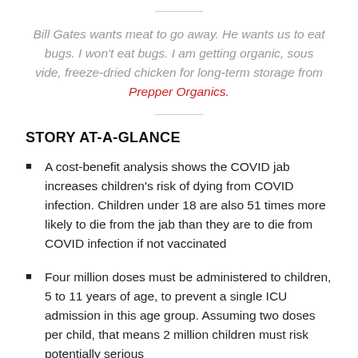Bill Gates wants meat to go away. He wants us to eat bugs. I won't eat bugs. I am getting organic, sous vide, freeze-dried chicken for long-term storage from Prepper Organics.
STORY AT-A-GLANCE
A cost-benefit analysis shows the COVID jab increases children's risk of dying from COVID infection. Children under 18 are also 51 times more likely to die from the jab than they are to die from COVID infection if not vaccinated
Four million doses must be administered to children, 5 to 11 years of age, to prevent a single ICU admission in this age group. Assuming two doses per child, that means 2 million children must risk potentially serious